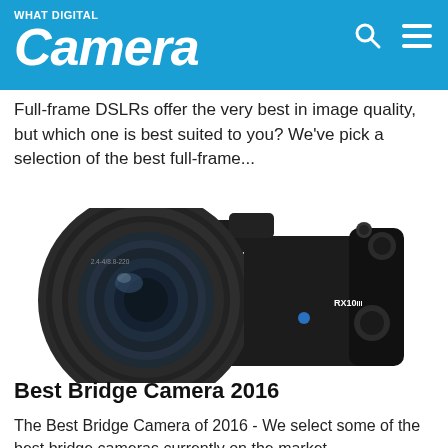WHAT DIGITAL Camera
Full-frame DSLRs offer the very best in image quality, but which one is best suited to you? We've pick a selection of the best full-frame...
[Figure (photo): Sony RX10 III bridge camera, black body with large zoom lens, front-facing view on white background]
Best Bridge Camera 2016
The Best Bridge Camera of 2016 - We select some of the best bridge cameras currently on the market